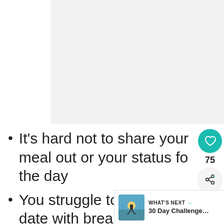[Figure (photo): Light gray placeholder image area at top of page]
It's hard not to share your meal out or your status for the day
You struggle to keep date with breaking news